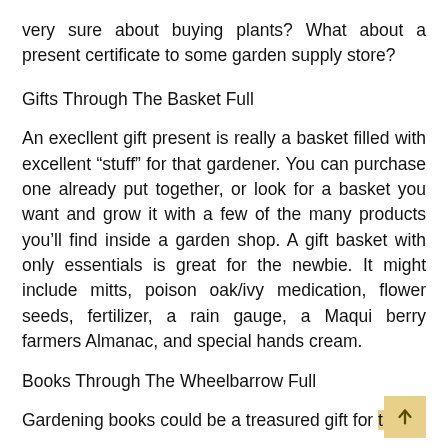very sure about buying plants? What about a present certificate to some garden supply store?
Gifts Through The Basket Full
An execllent gift present is really a basket filled with excellent “stuff” for that gardener. You can purchase one already put together, or look for a basket you want and grow it with a few of the many products you’ll find inside a garden shop. A gift basket with only essentials is great for the newbie. It might include mitts, poison oak/ivy medication, flower seeds, fertilizer, a rain gauge, a Maqui berry farmers Almanac, and special hands cream.
Books Through The Wheelbarrow Full
Gardening books could be a treasured gift for that